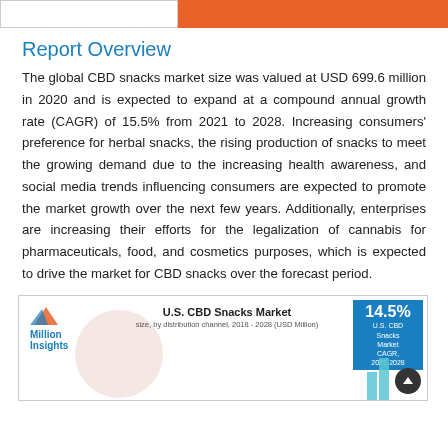Report Overview
The global CBD snacks market size was valued at USD 699.6 million in 2020 and is expected to expand at a compound annual growth rate (CAGR) of 15.5% from 2021 to 2028. Increasing consumers' preference for herbal snacks, the rising production of snacks to meet the growing demand due to the increasing health awareness, and social media trends influencing consumers are expected to promote the market growth over the next few years. Additionally, enterprises are increasing their efforts for the legalization of cannabis for pharmaceuticals, food, and cosmetics purposes, which is expected to drive the market for CBD snacks over the forecast period.
[Figure (infographic): Million Insights logo with U.S. CBD Snacks Market chart infographic showing size by distribution channel 2018-2028 (USD Million), with 14.5% U.S. CBD Snacks Market CAGR 2021-2028 highlighted in blue box, decorative circle background, and bar chart bars visible at bottom right.]